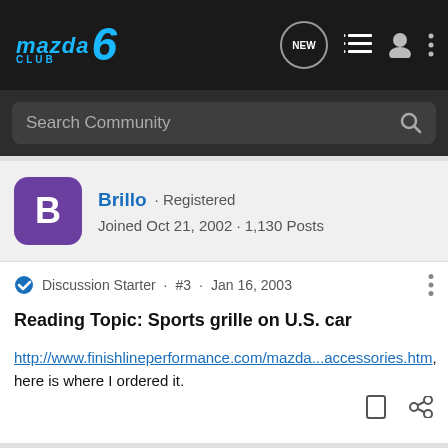[Figure (logo): Mazda6 Club logo in blue with italic text on dark background nav bar with icons]
Search Community
Brillo · Registered
Joined Oct 21, 2002 · 1,130 Posts
Discussion Starter · #3 · Jan 16, 2003
Reading Topic: Sports grille on U.S. car
http://www.finishlineperformance.com/mazda...accessories.htm, here is where I ordered it.